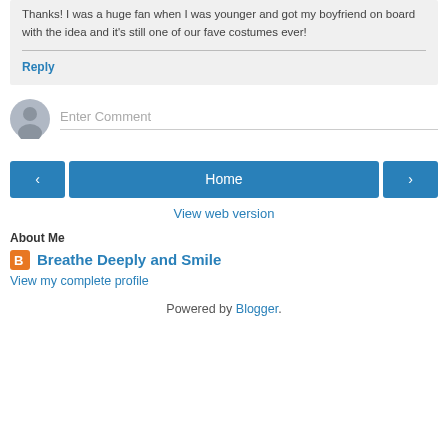Thanks! I was a huge fan when I was younger and got my boyfriend on board with the idea and it's still one of our fave costumes ever!
Reply
Enter Comment
Home
View web version
About Me
Breathe Deeply and Smile
View my complete profile
Powered by Blogger.